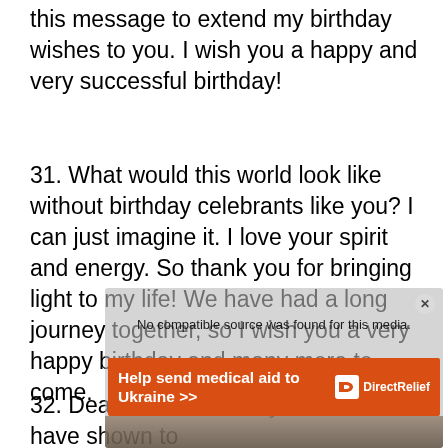this message to extend my birthday wishes to you. I wish you a happy and very successful birthday!
31. What would this world look like without birthday celebrants like you? I can just imagine it. I love your spirit and energy. So thank you for bringing light to my life! We have had a long journey together, so I wish you a very happy birthday and many more to come.
32. Dear aunt, the love you have shown to
[Figure (screenshot): Video player overlay showing 'No compatible source was found for this media.' with a close button, an orange advertisement banner for DirectRelief reading 'Help send medical aid to Ukraine >>' and a partially visible video preview at the bottom.]